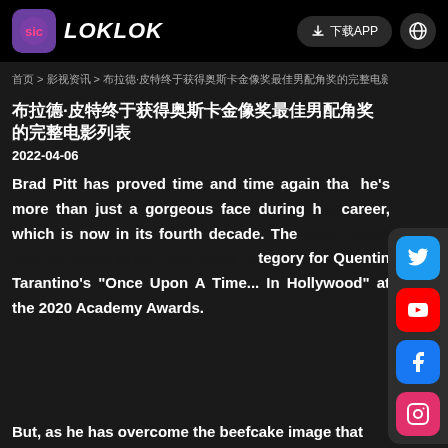LOKLOK
首页 > 影视资讯 > 布拉德·皮特终于获得奥斯卡金像奖最佳男配角奖的完整电影列表
布拉德·皮特终于获得奥斯卡金像奖最佳男配角奖的完整电影列表
2022-04-06
Brad Pitt has proved time and time again that he's more than just a gorgeous face during his career, which is now in its fourth decade. The actor finally won an Oscar in the Best Actor category for Quentin Tarantino's "Once Upon A Time... In Hollywood" at the 2020 Academy Awards.
But, as he has overcome the beefcake image that